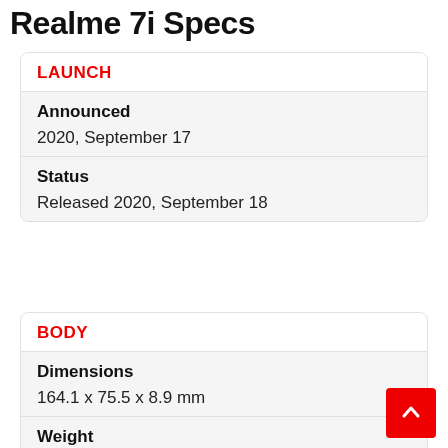Realme 7i Specs
| LAUNCH |  |
| --- | --- |
| Announced | 2020, September 17 |
| Status | Released 2020, September 18 |
| BODY |  |
| --- | --- |
| Dimensions | 164.1 x 75.5 x 8.9 mm |
| Weight | 190 g |